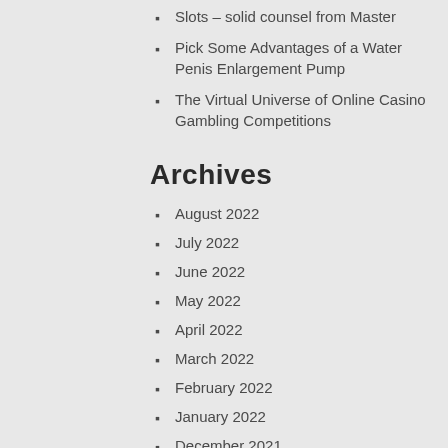Slots – solid counsel from Master
Pick Some Advantages of a Water Penis Enlargement Pump
The Virtual Universe of Online Casino Gambling Competitions
Archives
August 2022
July 2022
June 2022
May 2022
April 2022
March 2022
February 2022
January 2022
December 2021
November 2021